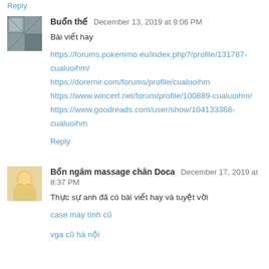Reply
Buổn thế  December 13, 2019 at 9:06 PM
Bài viết hay
https://forums.pokemmo.eu/index.php?/profile/131787-cualuoihm/
https://doremir.com/forums/profile/cualuoihm
https://www.wincert.net/forum/profile/100889-cualuoihm/
https://www.goodreads.com/user/show/104133368-cualuoihm
Reply
Bốn ngâm massage chân Doca  December 17, 2019 at 8:37 PM
Thực sự anh đã có bài viết hay và tuyệt vời
case máy tính cũ
vga cũ hà nội